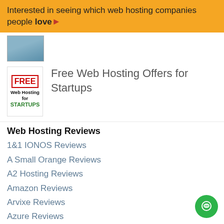Interested in seeing which web hosting companies people love
[Figure (photo): Partial photo of a person, cropped at top of page]
[Figure (illustration): Card image: FREE Web Hosting for STARTUPS text graphic]
Free Web Hosting Offers for Startups
Web Hosting Reviews
1&1 IONOS Reviews
A Small Orange Reviews
A2 Hosting Reviews
Amazon Reviews
Arvixe Reviews
Azure Reviews
BlueHost Reviews
Cloudways Reviews
Digital Ocean Reviews
DreamHost Reviews